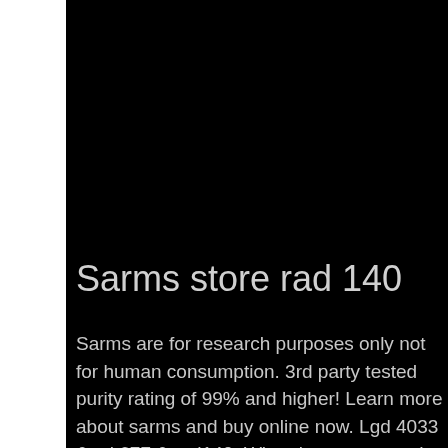Sarms store rad 140
Sarms are for research purposes only not for human consumption. 3rd party tested purity rating of 99% and higher! Learn more about sarms and buy online now. Lgd 4033 &amp; mk677 &amp; rad140. When it comes to rad-140 uk, we encourage you to familiarize yourself with the offer of our store. As a cross the limits brand, we make sure that our assortment. Rad 140 sarm serves to help